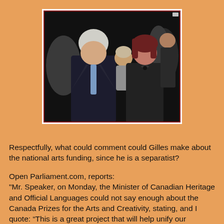[Figure (photo): A man with white hair in a dark suit holding a young child, standing next to a woman with dark hair smiling, at what appears to be a public event with people in the background.]
Respectfully, what could comment could Gilles make about the national arts funding, since he is a separatist?

Open Parliament.com, reports:
"Mr. Speaker, on Monday, the Minister of Canadian Heritage and Official Languages could not say enough about the Canada Prizes for the Arts and Creativity, stating, and I quote: “This is a great project that will help unify our country.” On Tuesday, when questioned in the House about what he